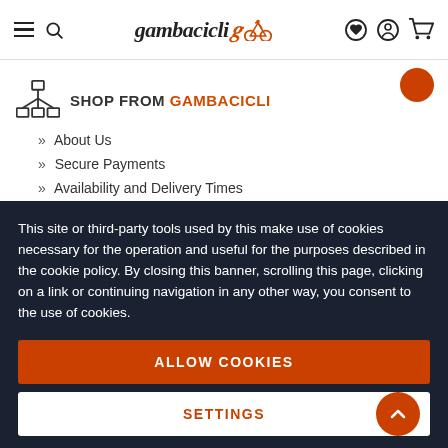gambacicli - navigation header with menu, search, logo, wishlist, account, cart icons
SHOP FROM GAMBACICLI
About Us
Secure Payments
Availability and Delivery Times
Product Warranty
This site or third-party tools used by this make use of cookies necessary for the operation and useful for the purposes described in the cookie policy. By closing this banner, scrolling this page, clicking on a link or continuing navigation in any other way, you consent to the use of cookies.
ALLOW COOKIES
SETTINGS